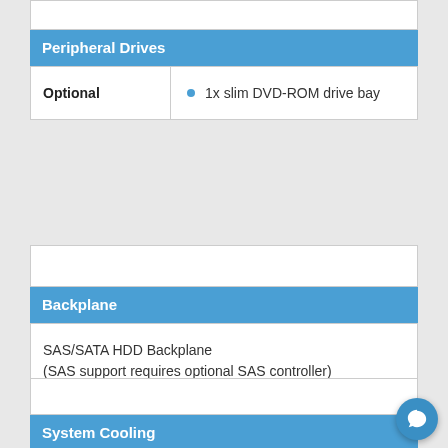Peripheral Drives
|  |  |
| --- | --- |
| Optional | 1x slim DVD-ROM drive bay |
Backplane
SAS/SATA HDD Backplane
(SAS support requires optional SAS controller)
System Cooling